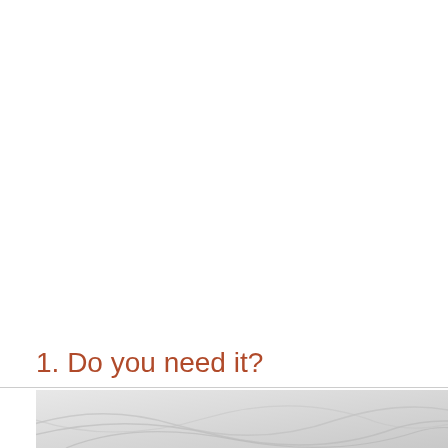1. Do you need it?
[Figure (illustration): Decorative background image with curved wave-like lines on a light grey gradient background, partially visible at the bottom of the page.]